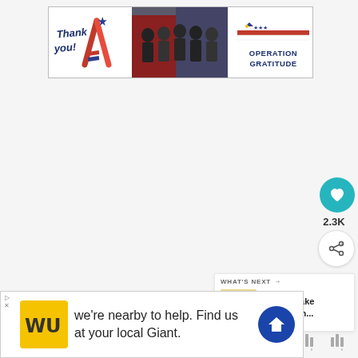[Figure (screenshot): Top banner advertisement for Operation Gratitude showing 'Thank you!' text with pencil graphic, photo of firefighters/military personnel, and Operation Gratitude logo with American flag motif]
[Figure (infographic): Like button (teal circle with heart icon) and share button (white circle with share icon), with count 2.3K]
2.3K
[Figure (screenshot): What's Next widget showing thumbnail of lemon cake and text 'Lemon Cake {A Scratch...']
WHAT'S NEXT → Lemon Cake {A Scratch...
[Figure (screenshot): Weather widget icons]
[Figure (screenshot): Bottom banner advertisement for Western Union: 'we're nearby to help. Find us at your local Giant.' with WU logo and navigation icon]